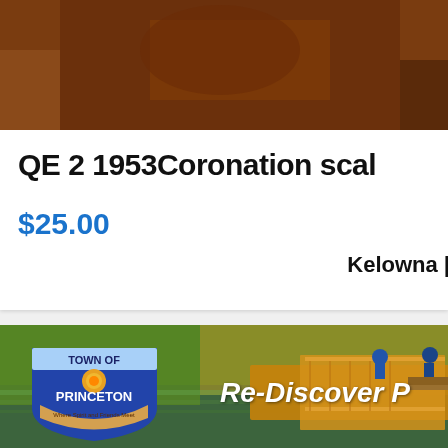[Figure (photo): Product listing photo — partially visible, brown/dark background at top of card]
QE 2 1953Coronation scal
$25.00
Kelowna |
[Figure (photo): Town of Princeton advertisement banner showing a wooden dock/pier on a green lake with people fishing, autumn trees reflected in water. Overlaid with Town of Princeton shield logo and text 'Re-Discover P']